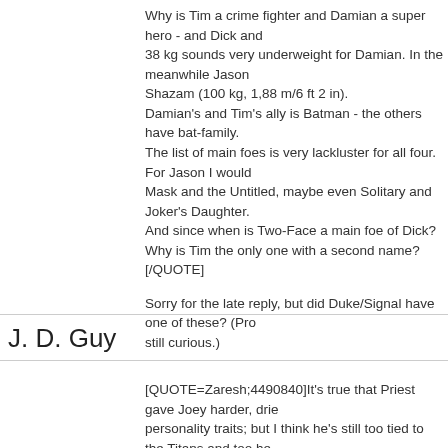Why is Tim a crime fighter and Damian a super hero - and Dick and 38 kg sounds very underweight for Damian. In the meanwhile Jason Shazam (100 kg, 1,88 m/6 ft 2 in). Damian's and Tim's ally is Batman - the others have bat-family. The list of main foes is very lackluster for all four. For Jason I would Mask and the Untitled, maybe even Solitary and Joker's Daughter. And since when is Two-Face a main foe of Dick? Why is Tim the only one with a second name?[/QUOTE]
Sorry for the late reply, but did Duke/Signal have one of these? (Pro still curious.)
J. D. Guy
[QUOTE=Zaresh;4490840]It's true that Priest gave Joey harder, drie personality traits; but I think he's still too tied to the Titans and too he member of the Outlaws (but I am totally in for him joining). And it's tr mentioned, that he's a "big" character and chances are he's not allo Connor, I could see them though. He's nowhere now, in limbo, and e character for a while, it's still "small," I guess.
From the flash family, last time I read that book, Goodspeed was a p villain (hurting innocents and all); but that was a year and half ago a changed? In any case, yep; seems like he's out of the list if he's still plams. Daniel West could be cool; he has enought heroic traits as fa